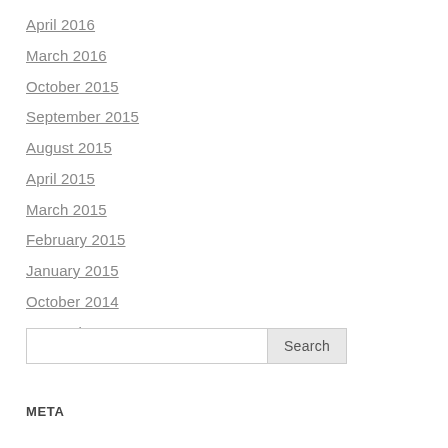April 2016
March 2016
October 2015
September 2015
August 2015
April 2015
March 2015
February 2015
January 2015
October 2014
September 2014
[Figure (other): Search input box with Search button]
META